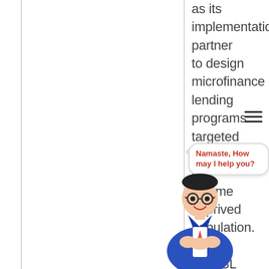as its implementation partner to design microfinance lending programs targeted towards low income deprived population.

MNBBL is focused towards working with the target people of AF... vision is ... focused towards giving ... t to the ... privileged people
[Figure (illustration): A cartoon chatbot character (man in blue suit with glasses) with a speech bubble saying 'Namaste, How may I help you?' in red text]